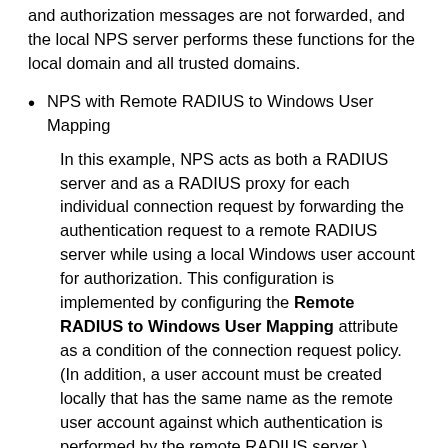and authorization messages are not forwarded, and the local NPS server performs these functions for the local domain and all trusted domains.
NPS with Remote RADIUS to Windows User Mapping
In this example, NPS acts as both a RADIUS server and as a RADIUS proxy for each individual connection request by forwarding the authentication request to a remote RADIUS server while using a local Windows user account for authorization. This configuration is implemented by configuring the Remote RADIUS to Windows User Mapping attribute as a condition of the connection request policy. (In addition, a user account must be created locally that has the same name as the remote user account against which authentication is performed by the remote RADIUS server.)